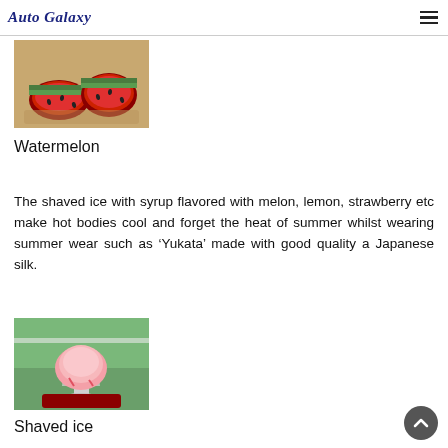Auto Galaxy
[Figure (photo): Sliced watermelon pieces on a wooden tray with bamboo mat background]
Watermelon
The shaved ice with syrup flavored with melon, lemon, strawberry etc make hot bodies cool and forget the heat of summer whilst wearing summer wear such as ‘Yukata’ made with good quality a Japanese silk.
[Figure (photo): A glass of pink shaved ice (kakigori) on a red tray with outdoor background]
Shaved ice